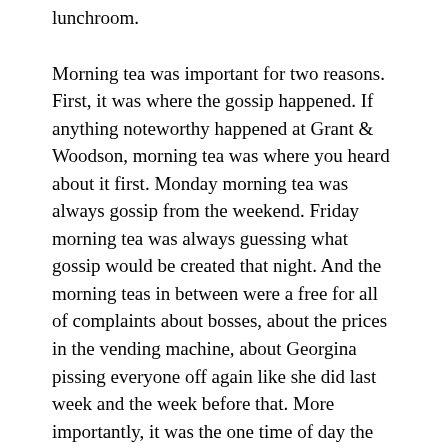lunchroom.
Morning tea was important for two reasons. First, it was where the gossip happened. If anything noteworthy happened at Grant & Woodson, morning tea was where you heard about it first. Monday morning tea was always gossip from the weekend. Friday morning tea was always guessing what gossip would be created that night. And the morning teas in between were a free for all of complaints about bosses, about the prices in the vending machine, about Georgina pissing everyone off again like she did last week and the week before that. More importantly, it was the one time of day the grunts were alone, and could talk freely about the important things, like who was wearing a stupid shirt that day, or who got in trouble with who, or how somebody saw someone look at someone funny, and now everyone needed to debate whether they were sleeping together or not. Only a few west riders ever showed up, usually